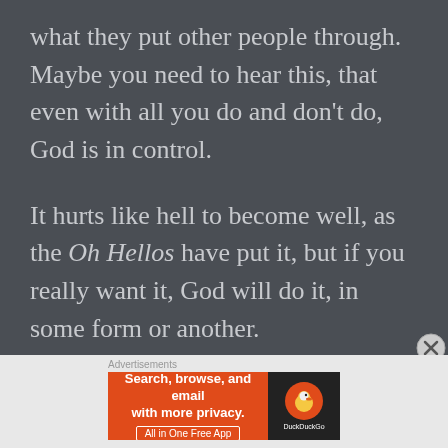what they put other people through. Maybe you need to hear this, that even with all you do and don't do, God is in control.
It hurts like hell to become well, as the Oh Hellos have put it, but if you really want it, God will do it, in some form or another.
[Figure (other): DuckDuckGo advertisement banner: orange left section with text 'Search, browse, and email with more privacy. All in One Free App', black right section with DuckDuckGo duck logo and brand name.]
Advertisements